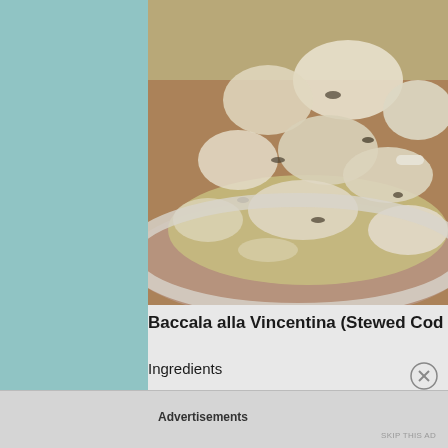[Figure (photo): Close-up photo of Baccala alla Vincentina (stewed codfish) in a ceramic bowl with silver rim, showing chunks of white fish in olive oil sauce with herbs]
Baccala alla Vincentina (Stewed Codf...
Ingredients
Advertisements